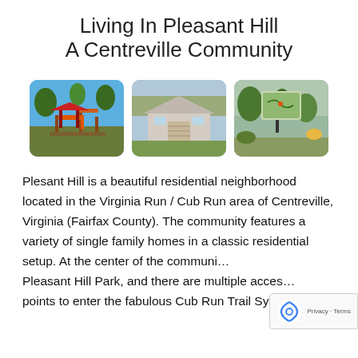Living In Pleasant Hill
A Centreville Community
[Figure (photo): Three photos side by side: a playground with red structure, a residential house with driveway, and a trail map sign with path]
Plesant Hill is a beautiful residential neighborhood located in the Virginia Run / Cub Run area of Centreville, Virginia (Fairfax County). The community features a variety of single family homes in a classic residential setup. At the center of the communi… Pleasant Hill Park, and there are multiple acces… points to enter the fabulous Cub Run Trail System